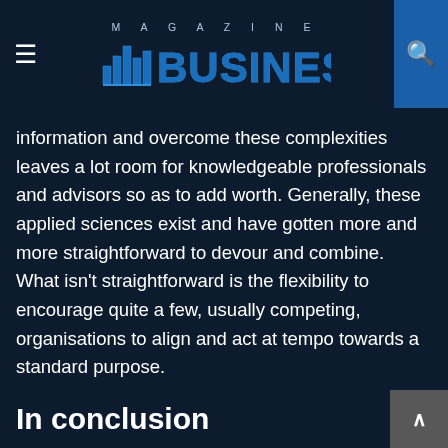MAGAZINE BUSINESS
information and overcome these complexities leaves a lot room for knowledgeable professionals and advisors so as to add worth. Generally, these applied sciences exist and have gotten more and more straightforward to devour and combine. What isn't straightforward is the flexibility to encourage quite a few, usually competing, organisations to align and act at tempo towards a standard purpose.
In conclusion
Applied sciences like blockchain have enormous potential to take away friction from our financial system deepen belief and essentially change the way in which we work and work together. They'll disintermediate the unwary, dismantle the established order in lots of